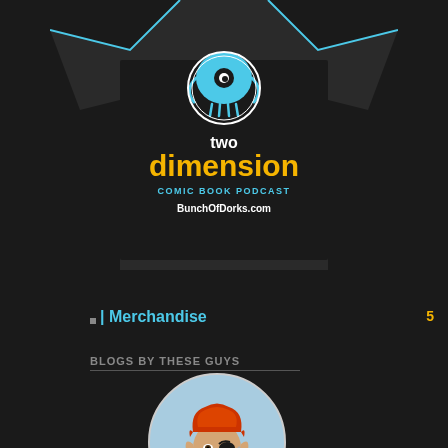[Figure (illustration): A black t-shirt with the 'Two Dimension Comic Book Podcast' logo featuring a blue squid mascot, yellow 'dimension' text, cyan 'COMIC BOOK PODCAST' subtitle, and white 'BunchOfDorks.com' URL on a dark square background, with cyan corner accents.]
5
| Merchandise
BLOGS BY THESE GUYS
[Figure (illustration): Circular illustration of a fantasy/elf character with red hair, a black eye patch, pointed ears, and a sword, with a light blue background. Below is the 'Tales of Syphain Series' logo in italic serif font.]